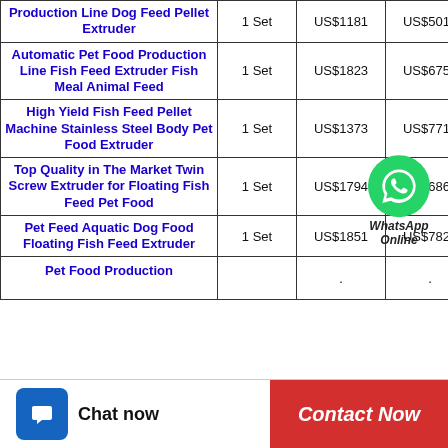| Product Name | Min. Order | Min. Price | Max. Price |
| --- | --- | --- | --- |
| Production Line Dog Feed Pellet Extruder | 1 Set | US$1181 | US$5010 |
| Automatic Pet Food Production Line Fish Feed Extruder Fish Meal Animal Feed | 1 Set | US$1823 | US$6756 |
| High Yield Fish Feed Pellet Machine Stainless Steel Body Pet Food Extruder | 1 Set | US$1373 | US$7718 |
| Top Quality in The Market Twin Screw Extruder for Floating Fish Feed Pet Food | 1 Set | US$1794 | US$6861 |
| Pet Feed Aquatic Dog Food Floating Fish Feed Extruder | 1 Set | US$1851 | US$7823 |
| Pet Food Production ... |  | ... | ... |
[Figure (other): WhatsApp Online overlay with green WhatsApp icon circle and text 'WhatsApp Online']
Chat now
Contact Now